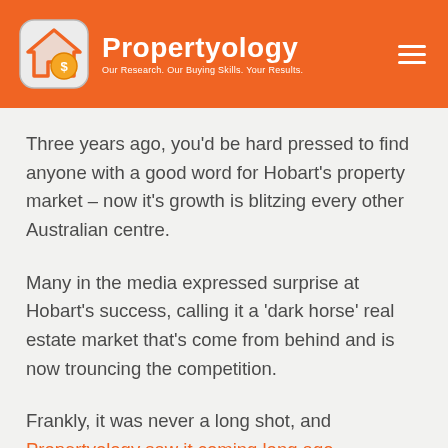Propertyology — Our Research. Our Buying Skills. Your Results.
Three years ago, you'd be hard pressed to find anyone with a good word for Hobart's property market – now it's growth is blitzing every other Australian centre.
Many in the media expressed surprise at Hobart's success, calling it a 'dark horse' real estate market that's come from behind and is now trouncing the competition.
Frankly, it was never a long shot, and Propertyology saw it coming long ago.